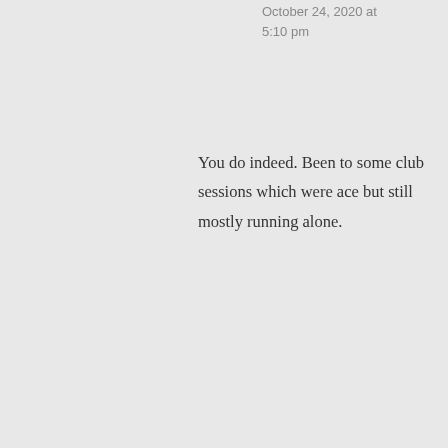October 24, 2020 at 5:10 pm
You do indeed. Been to some club sessions which were ace but still mostly running alone.
★ Liked by 1 person
Leave a Reply
Your email address will not be published. Required fields are marked *
Comment *